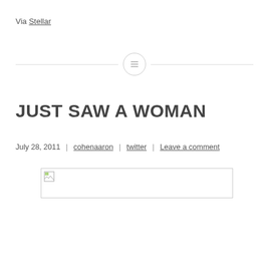Via Stellar
[Figure (other): Horizontal divider with a circle icon containing lines (menu/list icon) in the center]
JUST SAW A WOMAN
July 28, 2011  |  cohenaaron  |  twitter  |  Leave a comment
[Figure (photo): Broken/unloaded image placeholder with small image icon in top-left corner]